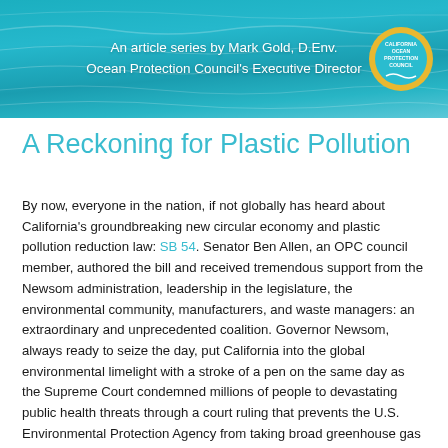[Figure (illustration): Header banner with ocean/water background in teal/cyan tones. Contains centered text 'An article series by Mark Gold, D.Env. / Ocean Protection Council's Executive Director' in white, with California Ocean Protection Council circular logo on the right side.]
A Reckoning for Plastic Pollution
By now, everyone in the nation, if not globally has heard about California's groundbreaking new circular economy and plastic pollution reduction law: SB 54. Senator Ben Allen, an OPC council member, authored the bill and received tremendous support from the Newsom administration, leadership in the legislature, the environmental community, manufacturers, and waste managers: an extraordinary and unprecedented coalition. Governor Newsom, always ready to seize the day, put California into the global environmental limelight with a stroke of a pen on the same day as the Supreme Court condemned millions of people to devastating public health threats through a court ruling that prevents the U.S. Environmental Protection Agency from taking broad greenhouse gas (GHG) reduction action